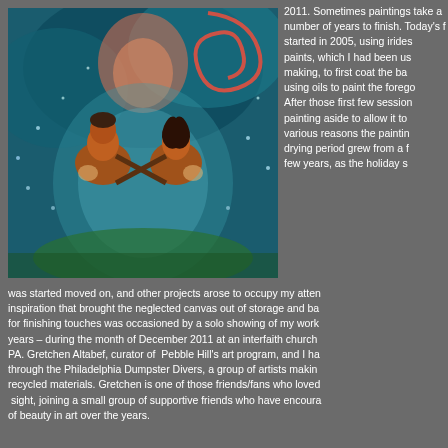[Figure (illustration): A colorful painting of two nude figures sitting cross-legged facing each other, with swirling blue and teal background and glowing orange/pink light above them. They appear to be engaged in a meditative or spiritual interaction.]
2011. Sometimes paintings take a number of years to finish. Today's featured piece was started in 2005, using iridescent acrylic paints, which I had been using in jewelry making, to first coat the background, then using oils to paint the foreground figures. After those first few sessions, I set the painting aside to allow it to dry, and for various reasons the painting's intentional drying period grew from a few weeks to a few years, as the holiday season when it was started moved on, and other projects arose to occupy my attention. It was a fresh inspiration that brought the neglected canvas out of storage and back to the easel; the call for finishing touches was occasioned by a solo showing of my work – my first in many years – during the month of December 2011 at an interfaith church in Jenkintown, PA. Gretchen Altabef, curator of Pebble Hill's art program, and I had been connected through the Philadelphia Dumpster Divers, a group of artists making art from found and recycled materials. Gretchen is one of those friends/fans who loved the painting from first sight, joining a small group of supportive friends who have encouraged my ongoing pursuit of beauty in art over the years.